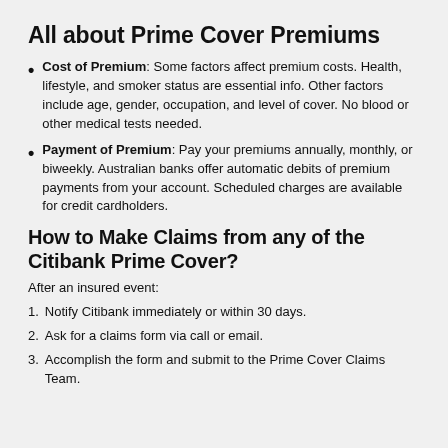All about Prime Cover Premiums
Cost of Premium: Some factors affect premium costs. Health, lifestyle, and smoker status are essential info. Other factors include age, gender, occupation, and level of cover. No blood or other medical tests needed.
Payment of Premium: Pay your premiums annually, monthly, or biweekly. Australian banks offer automatic debits of premium payments from your account. Scheduled charges are available for credit cardholders.
How to Make Claims from any of the Citibank Prime Cover?
After an insured event:
Notify Citibank immediately or within 30 days.
Ask for a claims form via call or email.
Accomplish the form and submit to the Prime Cover Claims Team.